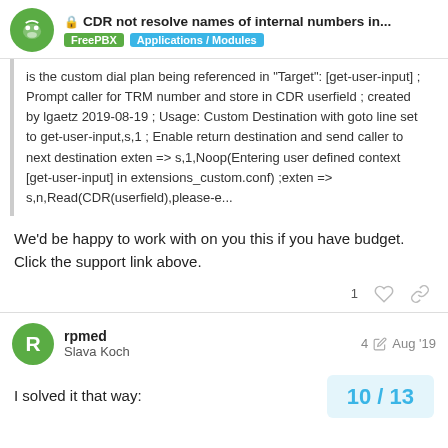CDR not resolve names of internal numbers in... | FreePBX | Applications / Modules
is the custom dial plan being referenced in "Target": [get-user-input] ; Prompt caller for TRM number and store in CDR userfield ; created by lgaetz 2019-08-19 ; Usage: Custom Destination with goto line set to get-user-input,s,1 ; Enable return destination and send caller to next destination exten => s,1,Noop(Entering user defined context [get-user-input] in extensions_custom.conf) ;exten => s,n,Read(CDR(userfield),please-e...
We'd be happy to work with on you this if you have budget. Click the support link above.
rpmed  4  Aug '19
Slava Koch
I solved it that way:  10 / 13